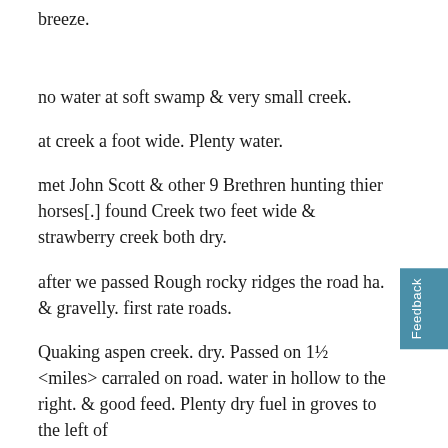breeze.
no water at soft swamp & very small creek.
at creek a foot wide. Plenty water.
met John Scott & other 9 Brethren hunting thier horses[.] found Creek two feet wide & strawberry creek both dry.
after we passed Rough rocky ridges the road ha. & gravelly. first rate roads.
Quaking aspen creek. dry. Passed on 1½ <miles> carraled on road. water in hollow to the right. & good feed. Plenty dry fuel in groves to the left of